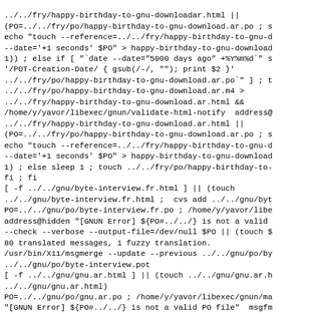Shell script / Makefile code fragment showing GNU translation build commands